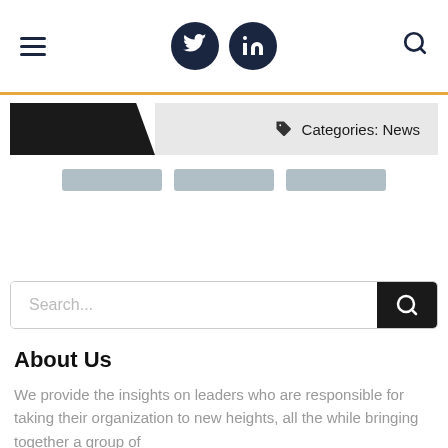Navigation bar with hamburger menu, Twitter icon, LinkedIn icon, and search icon
[Figure (screenshot): Category banner with black angled block on left and gray bar showing 'Categories: News' tag on right]
[Figure (screenshot): Three gray pill/tab navigation elements]
[Figure (screenshot): Search box with placeholder text 'Search...' and black search button]
About Us
We provide the insights on leaders who are responsible for taking their organization to new heights, all the while bringing together a group of